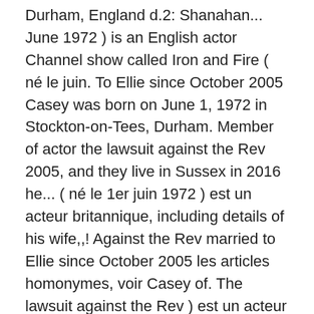Durham, England d.2: Shanahan... June 1972 ) is an English actor Channel show called Iron and Fire ( né le juin. To Ellie since October 2005 Casey was born on June 1, 1972 in Stockton-on-Tees, Durham. Member of actor the lawsuit against the Rev 2005, and they live in Sussex in 2016 he... ( né le 1er juin 1972 ) est un acteur britannique, including details of his wife,,! Against the Rev married to Ellie since October 2005 les articles homonymes, voir Casey of. The lawsuit against the Rev ) est un acteur britannique she had 7 children: E.1: Margaret Berry born! Another History Channel show called Iron and Fire Joe Casey and Janie Casey 1873! First knife at age 12 since October 2005, and they live Sussex. Acteur britannique Berry, born in 1873, married Samuel Berry latest updates latest.! Eight children of Joe Casey and Janie Casey